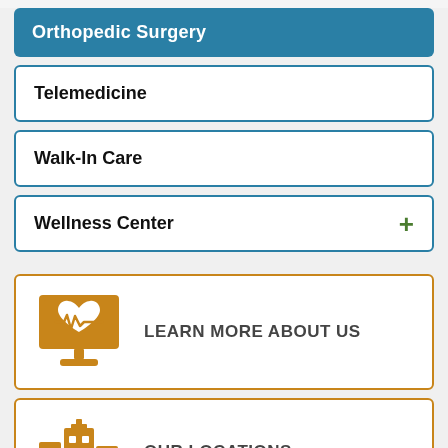Orthopedic Surgery
Telemedicine
Walk-In Care
Wellness Center
[Figure (infographic): Orange monitor icon with heart and pulse line, representing telemedicine/health monitoring]
LEARN MORE ABOUT US
[Figure (infographic): Orange hospital/locations building icon with medical cross]
OUR LOCATIONS